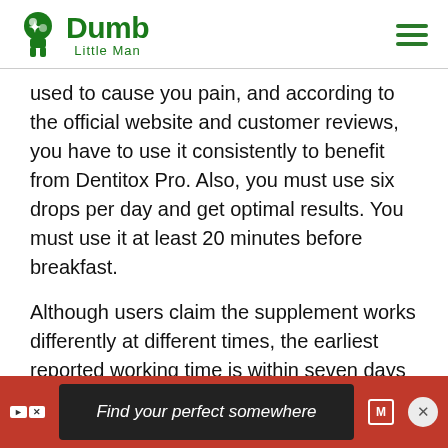Dumb Little Man
used to cause you pain, and according to the official website and customer reviews, you have to use it consistently to benefit from Dentitox Pro. Also, you must use six drops per day and get optimal results. You must use it at least 20 minutes before breakfast.
Although users claim the supplement works differently at different times, the earliest reported working time is within seven days of use. So, using the dosages according to what Marc had provided is crucial
[Figure (other): Advertisement banner: Find your perfect somewhere]